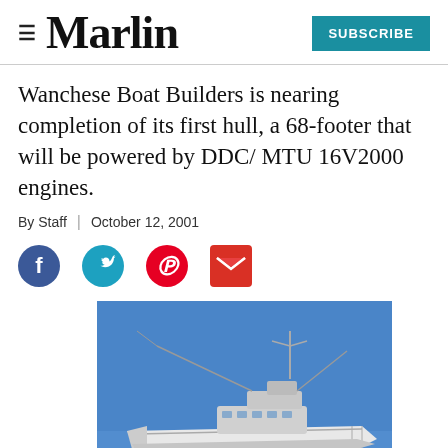Marlin | SUBSCRIBE
Wanchese Boat Builders is nearing completion of its first hull, a 68-footer that will be powered by DDC/ MTU 16V2000 engines.
By Staff | October 12, 2001
[Figure (illustration): Social media sharing icons: Facebook (dark blue circle with white f), Twitter (teal circle with white bird), Pinterest (red circle with white P), Email (red envelope icon)]
[Figure (photo): Blueprint-style illustration of a large sport fishing boat (68-footer) on a blue background, showing the vessel's profile with outriggers and fishing tower]